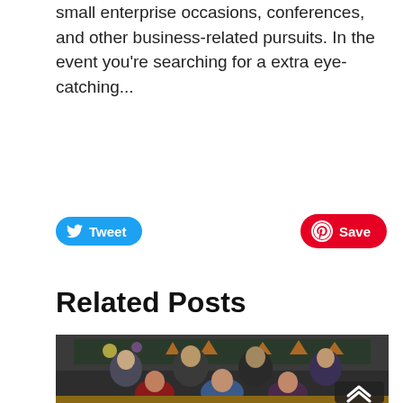small enterprise occasions, conferences, and other business-related pursuits. In the event you're searching for a extra eye-catching...
Tweet
Save
Related Posts
[Figure (photo): Group photo of seven professionals (four men standing in back row, three women seated in front row) in a school library or classroom setting with colorful decorations on a chalkboard behind them.]